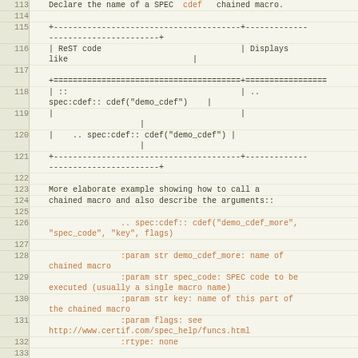| line | code |
| --- | --- |
| 113 |     Declare the name of a SPEC  cdef   chained macro. |
| 114 |  |
| 115 |     +---------------------------------------+------------- |
|  |     -----------------------+ |
| 116 |     | ReST code                             | Displays |
|  |     like                          | |
| 117 |  |
|  |     +=======================================+================= |
| 118 |     | ::                                    | .. |
|  |     spec:cdef:: cdef("demo_cdef")    | |
| 119 |     |                                       | |
|  |                        | |
| 120 |     |    .. spec:cdef:: cdef("demo_cdef") | |
|  |                        | |
| 121 |     +---------------------------------------+------------- |
|  |     -----------------------+ |
| 122 |  |
| 123 |     More elaborate example showing how to call a |
| 124 |     chained macro and also describe the arguments:: |
| 125 |  |
| 126 |                    .. spec:cdef:: cdef("demo_cdef_more", |
|  |     "spec_code", "key", flags) |
| 127 |  |
| 128 |                    :param str demo_cdef_more: name of |
|  |     chained macro |
| 129 |                    :param str spec_code: SPEC code to be |
|  |     executed (usually a single macro name) |
| 130 |                    :param str key: name of this part of |
|  |     the chained macro |
| 131 |                    :param flags: see |
|  |     http://www.certif.com/spec_help/funcs.html |
| 132 |                    :rtype: none |
| 133 |  |
| 134 |                    This text is ignored (for now). |